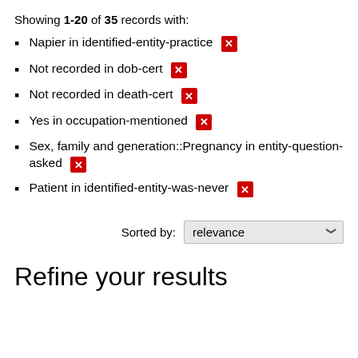Showing 1-20 of 35 records with:
Napier in identified-entity-practice ✕
Not recorded in dob-cert ✕
Not recorded in death-cert ✕
Yes in occupation-mentioned ✕
Sex, family and generation::Pregnancy in entity-question-asked ✕
Patient in identified-entity-was-never ✕
Sorted by: relevance
Refine your results